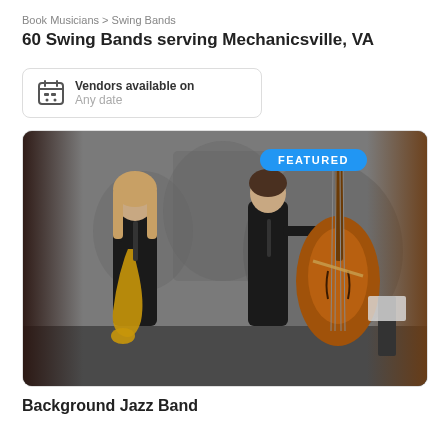Book Musicians > Swing Bands
60 Swing Bands serving Mechanicsville, VA
Vendors available on
Any date
[Figure (photo): Two musicians in black suits performing: one playing saxophone on the left, one playing double bass on the right. Background shows a black and white mural. A 'FEATURED' badge appears in blue at the top.]
Background Jazz Band